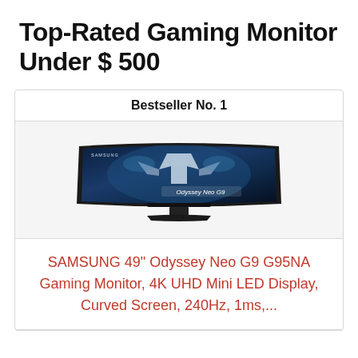Top-Rated Gaming Monitor Under $ 500
Bestseller No. 1
[Figure (photo): Samsung Odyssey Neo G9 ultrawide curved gaming monitor on a stand, showing a sci-fi game scene with 'Odyssey Neo G9' text on screen]
SAMSUNG 49" Odyssey Neo G9 G95NA Gaming Monitor, 4K UHD Mini LED Display, Curved Screen, 240Hz, 1ms,...